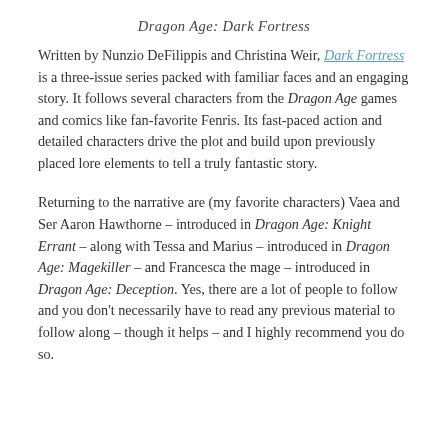Dragon Age: Dark Fortress
Written by Nunzio DeFilippis and Christina Weir, Dark Fortress is a three-issue series packed with familiar faces and an engaging story. It follows several characters from the Dragon Age games and comics like fan-favorite Fenris. Its fast-paced action and detailed characters drive the plot and build upon previously placed lore elements to tell a truly fantastic story.
Returning to the narrative are (my favorite characters) Vaea and Ser Aaron Hawthorne – introduced in Dragon Age: Knight Errant – along with Tessa and Marius – introduced in Dragon Age: Magekiller – and Francesca the mage – introduced in Dragon Age: Deception. Yes, there are a lot of people to follow and you don't necessarily have to read any previous material to follow along – though it helps – and I highly recommend you do so.